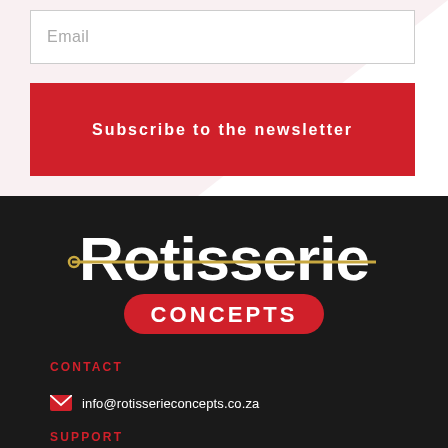Email
Subscribe to the newsletter
[Figure (logo): Rotisserie Concepts logo: white bold text 'Rotisserie' with a gold horizontal spit/skewer running through it, and a red rounded rectangle with white bold text 'CONCEPTS' below, on dark background]
CONTACT
info@rotisserieconcepts.co.za
SUPPORT